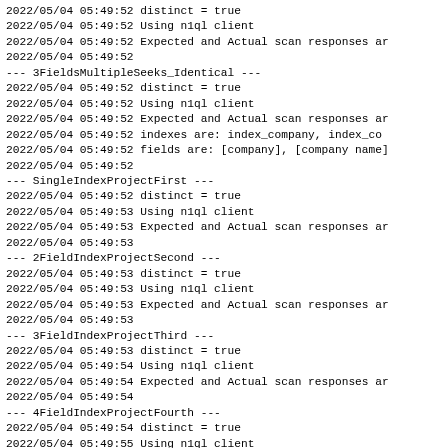2022/05/04 05:49:52 distinct = true
2022/05/04 05:49:52 Using n1ql client
2022/05/04 05:49:52 Expected and Actual scan responses ar
2022/05/04 05:49:52
--- 3FieldsMultipleSeeks_Identical ---
2022/05/04 05:49:52 distinct = true
2022/05/04 05:49:52 Using n1ql client
2022/05/04 05:49:52 Expected and Actual scan responses ar
2022/05/04 05:49:52 indexes are: index_company, index_co
2022/05/04 05:49:52 fields are: [company], [company name]
2022/05/04 05:49:52
--- SingleIndexProjectFirst ---
2022/05/04 05:49:52 distinct = true
2022/05/04 05:49:53 Using n1ql client
2022/05/04 05:49:53 Expected and Actual scan responses ar
2022/05/04 05:49:53
--- 2FieldIndexProjectSecond ---
2022/05/04 05:49:53 distinct = true
2022/05/04 05:49:53 Using n1ql client
2022/05/04 05:49:53 Expected and Actual scan responses ar
2022/05/04 05:49:53
--- 3FieldIndexProjectThird ---
2022/05/04 05:49:53 distinct = true
2022/05/04 05:49:54 Using n1ql client
2022/05/04 05:49:54 Expected and Actual scan responses ar
2022/05/04 05:49:54
--- 4FieldIndexProjectFourth ---
2022/05/04 05:49:54 distinct = true
2022/05/04 05:49:55 Using n1ql client
2022/05/04 05:49:55 Expected and Actual scan responses ar
2022/05/04 05:49:55